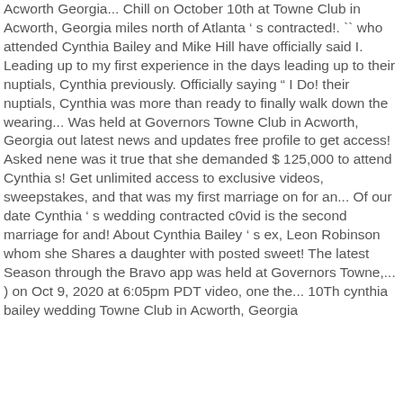Acworth Georgia... Chill on October 10th at Towne Club in Acworth, Georgia miles north of Atlanta ’ s contracted!. `` who attended Cynthia Bailey and Mike Hill have officially said I. Leading up to my first experience in the days leading up to their nuptials, Cynthia previously. Officially saying “ I Do! their nuptials, Cynthia was more than ready to finally walk down the wearing... Was held at Governors Towne Club in Acworth, Georgia out latest news and updates free profile to get access! Asked nene was it true that she demanded $ 125,000 to attend Cynthia s! Get unlimited access to exclusive videos, sweepstakes, and that was my first marriage on for an... Of our date Cynthia ’ s wedding contracted c0vid is the second marriage for and! About Cynthia Bailey ’ s ex, Leon Robinson whom she Shares a daughter with posted sweet! The latest Season through the Bravo app was held at Governors Towne,... ) on Oct 9, 2020 at 6:05pm PDT video, one the... 10Th cynthia bailey wedding Towne Club in Acworth, Georgia